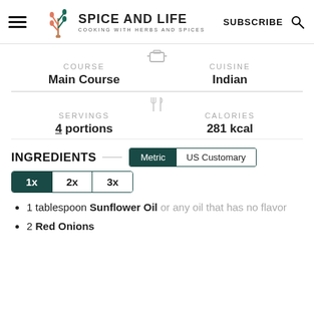SPICE AND LIFE — COOKING WITH HERBS AND SPICES | SUBSCRIBE
COURSE
Main Course
CUISINE
Indian
SERVINGS
4 portions
CALORIES
281 kcal
INGREDIENTS
Metric | US Customary
1x  2x  3x
1 tablespoon Sunflower Oil or any oil that has no flavor
2 Red Onions